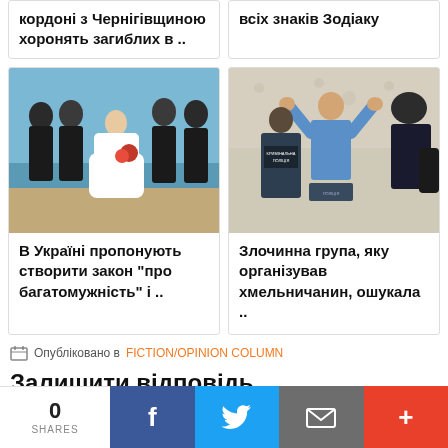кордоні з Чернігівщиною хоронять загиблих в ..
всіх знаків Зодіаку
[Figure (photo): Wedding photo: groomsmen carrying the bride on a beach]
В Україні пропонують створити закон "про багатомужність" і ..
[Figure (photo): Police officers in a room, one with 'Кримінальна поліція' on jacket]
Злочинна група, яку організував хмельничанин, ошукала ..
Опубліковано в FICTION/OPINION COLUMN
Залишити відповідь